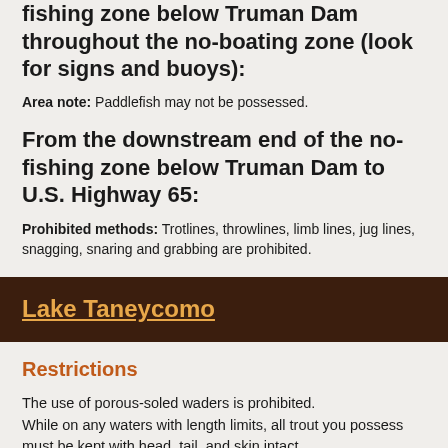fishing zone below Truman Dam throughout the no-boating zone (look for signs and buoys):
Area note: Paddlefish may not be possessed.
From the downstream end of the no-fishing zone below Truman Dam to U.S. Highway 65:
Prohibited methods: Trotlines, throwlines, limb lines, jug lines, snagging, snaring and grabbing are prohibited.
Lake Taneycomo
Restrictions
The use of porous-soled waders is prohibited. While on any waters with length limits, all trout you possess must be kept with head, tail, and skin intact.